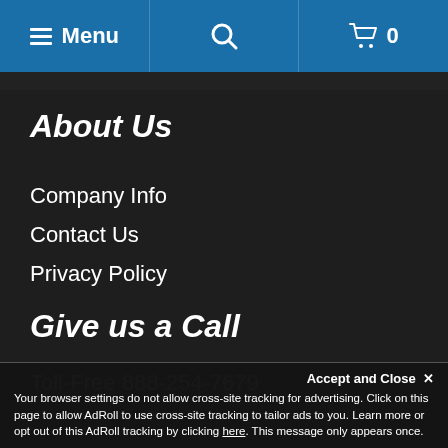Menu | Search | Cart 0
About Us
Company Info
Contact Us
Privacy Policy
Give us a Call
Toll-Free 888-254-7679
Accept and Close ✕
Your browser settings do not allow cross-site tracking for advertising. Click on this page to allow AdRoll to use cross-site tracking to tailor ads to you. Learn more or opt out of this AdRoll tracking by clicking here. This message only appears once.